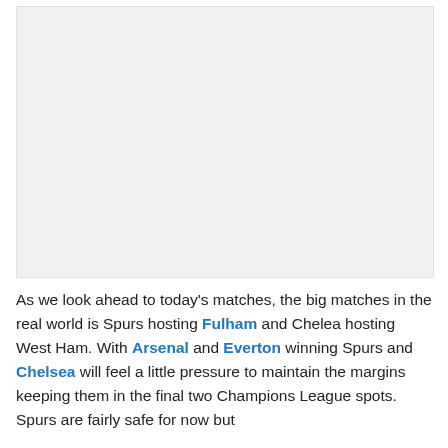[Figure (photo): Image placeholder area — appears to be a photo or graphic, contents not visible (white/gray box)]
As we look ahead to today's matches, the big matches in the real world is Spurs hosting Fulham and Chelea hosting West Ham. With Arsenal and Everton winning Spurs and Chelsea will feel a little pressure to maintain the margins keeping them in the final two Champions League spots. Spurs are fairly safe for now but